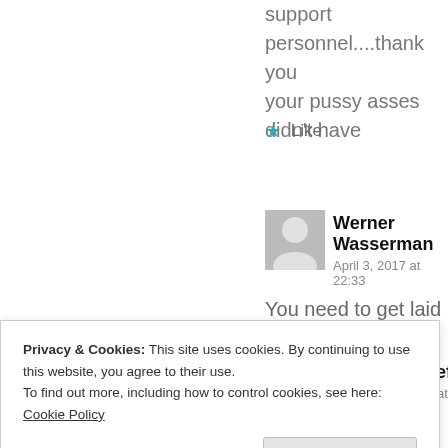support personnel....thank you your pussy asses didn't have
★ Like
Werner Wasserman
April 3, 2017 at 22:33
You need to get laid
★ Like
Joshmothereffinf
January 19, 2018 at 16:4
Privacy & Cookies: This site uses cookies. By continuing to use this website, you agree to their use.
To find out more, including how to control cookies, see here: Cookie Policy
Close and accept